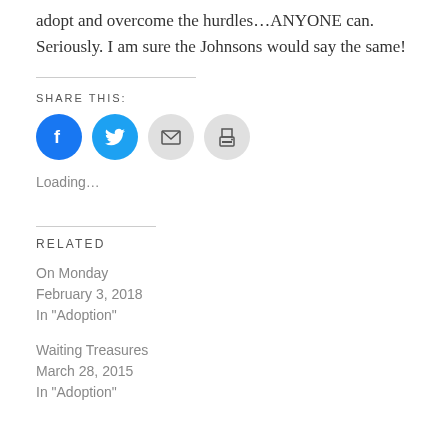adopt and overcome the hurdles…ANYONE can. Seriously. I am sure the Johnsons would say the same!
SHARE THIS:
[Figure (infographic): Row of four social sharing icon buttons: Facebook (blue circle with f), Twitter (blue circle with bird), Email (grey circle with envelope), Print (grey circle with printer)]
Loading…
RELATED
On Monday
February 3, 2018
In "Adoption"
Waiting Treasures
March 28, 2015
In "Adoption"